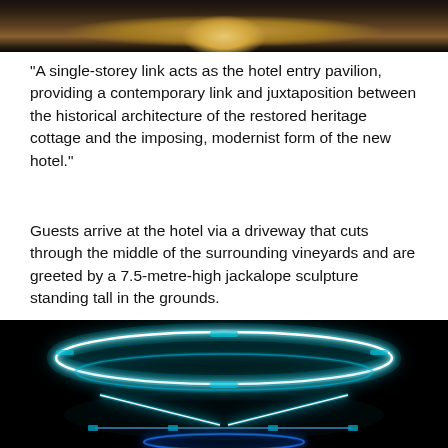[Figure (photo): Top portion of a photo showing a dramatic corridor or hallway with warm golden light emanating from the center, dark surroundings creating a strong contrast]
“A single-storey link acts as the hotel entry pavilion, providing a contemporary link and juxtaposition between the historical architecture of the restored heritage cottage and the imposing, modernist form of the new hotel.”
Guests arrive at the hotel via a driveway that cuts through the middle of the surrounding vineyards and are greeted by a 7.5-metre-high jackalope sculpture standing tall in the grounds.
[Figure (photo): Photo of glowing neon light art installation against a black background, showing large circular neon rings in cyan/turquoise and white, with crossed diagonal neon lines below, creating a futuristic UFO-like appearance]